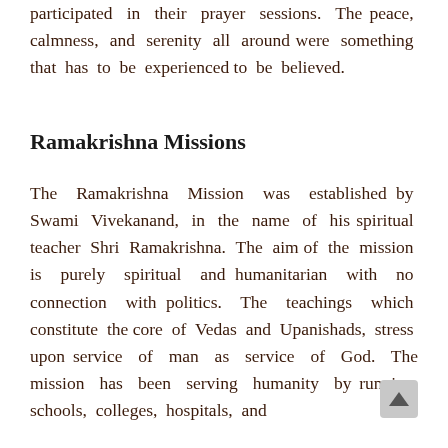participated in their prayer sessions. The peace, calmness, and serenity all around were something that has to be experienced to be believed.
Ramakrishna Missions
The Ramakrishna Mission was established by Swami Vivekanand, in the name of his spiritual teacher Shri Ramakrishna. The aim of the mission is purely spiritual and humanitarian with no connection with politics. The teachings which constitute the core of Vedas and Upanishads, stress upon service of man as service of God. The mission has been serving humanity by running schools, colleges, hospitals, and